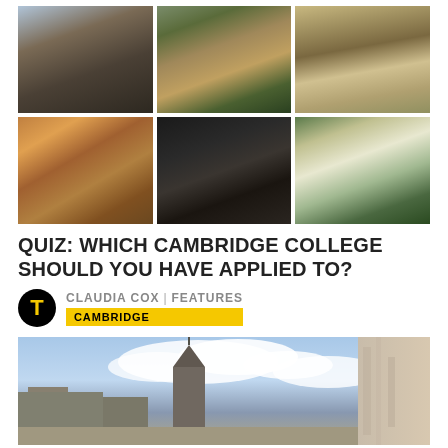[Figure (photo): 6-photo grid of Cambridge college buildings: King's College Chapel, a college courtyard with red brick buildings, a stone archway corridor, autumn-coloured trees by a path, a modern dark building interior at night, and Emanuel or similar neoclassical college building with lawn]
QUIZ: WHICH CAMBRIDGE COLLEGE SHOULD YOU HAVE APPLIED TO?
CLAUDIA COX | FEATURES
[Figure (photo): Photo of Cambridge university building with a tower and spire against a blue sky with clouds and a stone wall on the right]